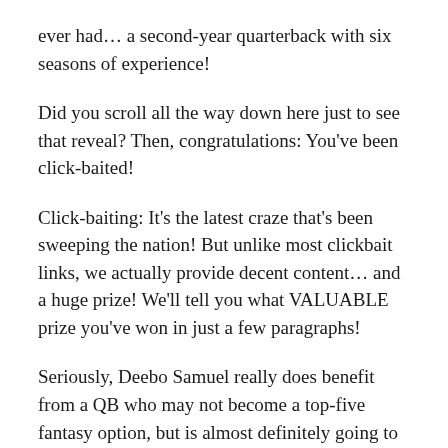ever had… a second-year quarterback with six seasons of experience!
Did you scroll all the way down here just to see that reveal? Then, congratulations: You've been click-baited!
Click-baiting: It's the latest craze that's been sweeping the nation! But unlike most clickbait links, we actually provide decent content… and a huge prize! We'll tell you what VALUABLE prize you've won in just a few paragraphs!
Seriously, Deebo Samuel really does benefit from a QB who may not become a top-five fantasy option, but is almost definitely going to improve after their first full season. I'm not going to say this QB's name because that alerts the evil eye of my Editor-in-Chief to come in and spew sacrilege about how the 49ers are, like, the best team in the universe or something.